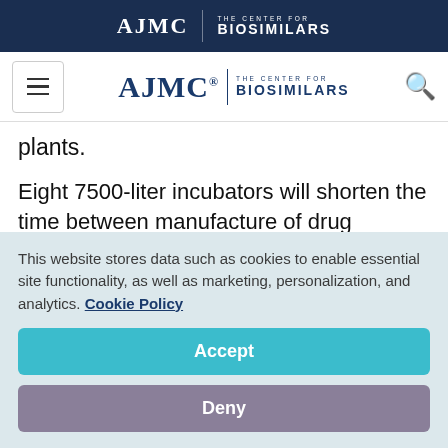AJMC | THE CENTER FOR BIOSIMILARS
[Figure (logo): AJMC | THE CENTER FOR BIOSIMILARS navigation logo with hamburger menu and search icon]
plants.
Eight 7500-liter incubators will shorten the time between manufacture of drug batches, the company said. A fourth plant also is in the planning stages, although further details...
This website stores data such as cookies to enable essential site functionality, as well as marketing, personalization, and analytics. Cookie Policy
Accept
Deny